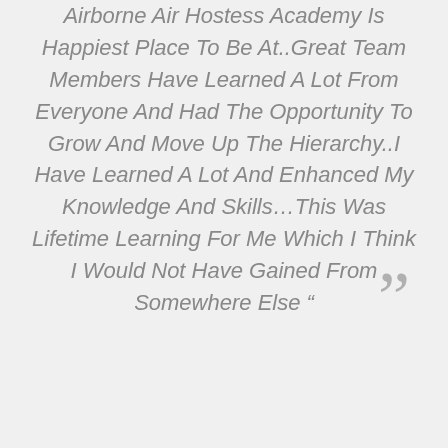Airborne Air Hostess Academy Is Happiest Place To Be At..Great Team Members Have Learned A Lot From Everyone And Had The Opportunity To Grow And Move Up The Hierarchy..I Have Learned A Lot And Enhanced My Knowledge And Skills…This Was Lifetime Learning For Me Which I Think I Would Not Have Gained From Somewhere Else “